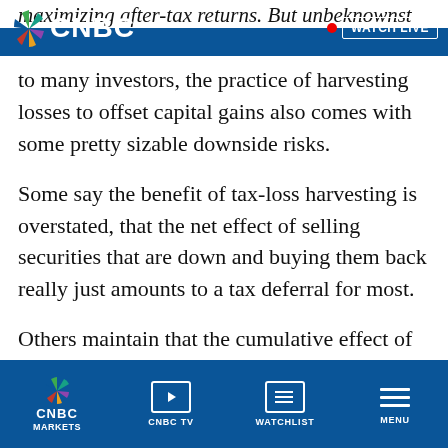CNBC — WATCH LIVE
maximizing after-tax returns. But unbeknownst to many investors, the practice of harvesting losses to offset capital gains also comes with some pretty sizable downside risks.
Some say the benefit of tax-loss harvesting is overstated, that the net effect of selling securities that are down and buying them back really just amounts to a tax deferral for most.
Others maintain that the cumulative effect of harvesting losses year after year can inadvertently subject investors to a higher capital gains rate later on, which negates any savings and
CNBC  MARKETS  |  CNBC TV  |  WATCHLIST  |  MENU